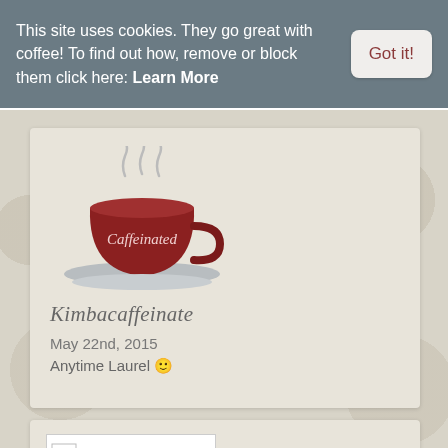This site uses cookies. They go great with coffee! To find out how, remove or block them click here: Learn More
Got it!
[Figure (illustration): Red coffee cup with steam and text 'Caffeinated' - blog logo for Kimbacaffeinate]
Kimbacaffeinate
May 22nd, 2015
Anytime Laurel 🙂
[Figure (photo): Broken/loading image placeholder in second comment card]